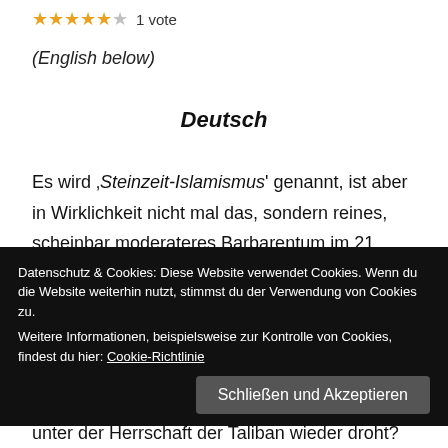1 vote
(English below)
Deutsch
Es wird ‚Steinzeit-Islamismus' genannt, ist aber in Wirklichkeit nicht mal das, sondern reines, scheinbar moderateres Barbarentum im 21. Jahrhundert. Dessen Grundgedanke ist offensichtlich zeitlos. Hier kommt der Pazifismus an seine Grenzen. Militär ist Destruktion – und militärische Intelligenz ist ein
Datenschutz & Cookies: Diese Website verwendet Cookies. Wenn du die Website weiterhin nutzt, stimmst du der Verwendung von Cookies zu.
Weitere Informationen, beispielsweise zur Kontrolle von Cookies, findest du hier: Cookie-Richtlinie
Schließen und Akzeptieren
unter der Herrschaft der Taliban wieder droht?